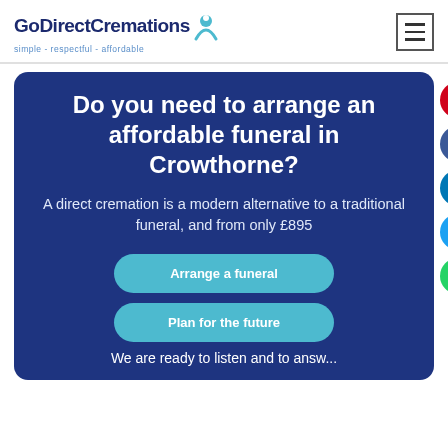GoDirectCremations simple - respectful - affordable
Do you need to arrange an affordable funeral in Crowthorne?
A direct cremation is a modern alternative to a traditional funeral, and from only £895
Arrange a funeral
Plan for the future
We are ready to listen and to answ...